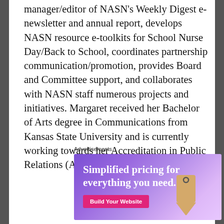manager/editor of NASN's Weekly Digest e-newsletter and annual report, develops NASN resource e-toolkits for School Nurse Day/Back to School, coordinates partnership communication/promotion, provides Board and Committee support, and collaborates with NASN staff numerous projects and initiatives. Margaret received her Bachelor of Arts degree in Communications from Kansas State University and is currently working towards her Accreditation in Public Relations (APR).
Advertisements
[Figure (illustration): Advertisement banner with purple gradient background showing 'Simplified pricing for everything you need.' text in white, a pink 'Build Your Website' button, and a decorative price tag illustration on the right.]